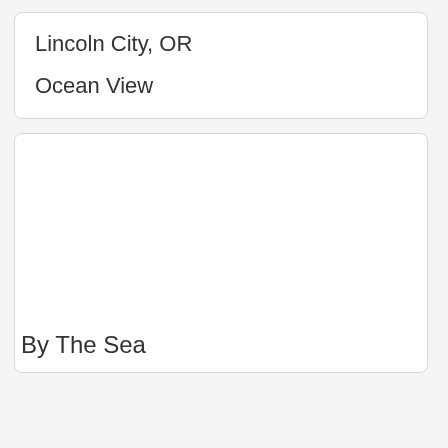Lincoln City, OR
Ocean View
By The Sea